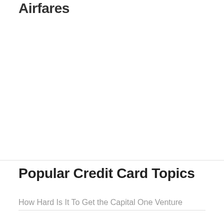Airfares
Popular Credit Card Topics
How Hard Is It To Get the Capital One Venture